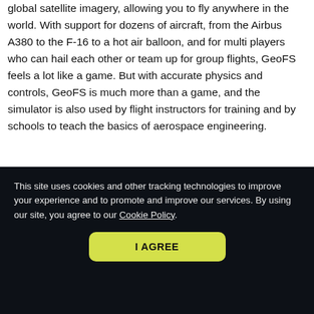global satellite imagery, allowing you to fly anywhere in the world. With support for dozens of aircraft, from the Airbus A380 to the F-16 to a hot air balloon, and for multi players who can hail each other or team up for group flights, GeoFS feels a lot like a game. But with accurate physics and controls, GeoFS is much more than a game, and the simulator is also used by flight instructors for training and by schools to teach the basics of aerospace engineering.
[Figure (screenshot): Screenshot of GeoFS flight simulator showing cockpit view with landscape visible through the windscreen]
This site uses cookies and other tracking technologies to improve your experience and to promote and improve our services. By using our site, you agree to our Cookie Policy.